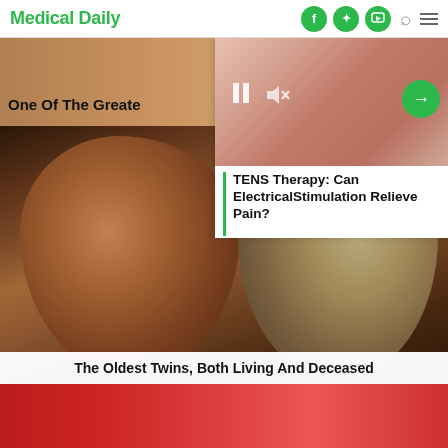Medical Daily
[Figure (photo): Partial top strip image of an article preview]
One Of The Greate
[Figure (photo): Woman lying on bed in pain - TENS therapy article overlay with play controls and green arrow button]
TENS Therapy: Can ElectricalStimulation Relieve Pain?
[Figure (photo): Two elderly women facing each other closely, one in a hospital gown - twins article photo]
The Oldest Twins, Both Living And Deceased
[Figure (photo): Bottom red-background article preview strip]